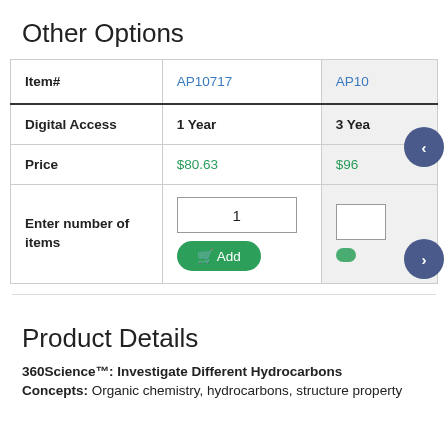Other Options
| Item# | AP10717 | AP10... |
| --- | --- | --- |
| Digital Access | 1 Year | 3 Yea... |
| Price | $80.63 | $96... |
| Enter number of items | 1 [Add] | ... |
Product Details
360Science™: Investigate Different Hydrocarbons
Concepts: Organic chemistry, hydrocarbons, structure property